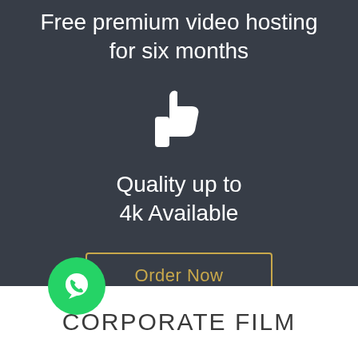Free premium video hosting for six months
[Figure (illustration): White thumbs up like icon]
Quality up to 4k Available
Order Now
[Figure (illustration): Green WhatsApp circular button icon]
CORPORATE FILM